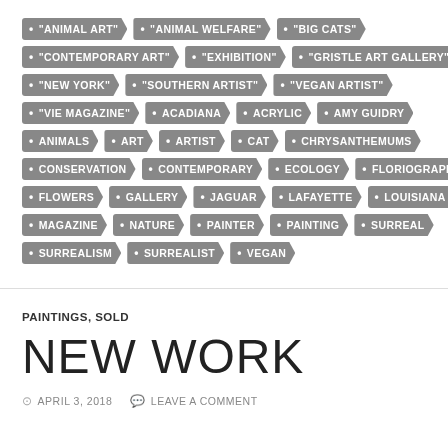"ANIMAL ART" • "ANIMAL WELFARE" • "BIG CATS" • "CONTEMPORARY ART" • "EXHIBITION" • "GRISTLE ART GALLERY" • "NEW YORK" • "SOUTHERN ARTIST" • "VEGAN ARTIST" • "VIE MAGAZINE" • ACADIANA • ACRYLIC • AMY GUIDRY • ANIMALS • ART • ARTIST • CAT • CHRYSANTHEMUMS • CONSERVATION • CONTEMPORARY • ECOLOGY • FLORIOGRAPHY • FLOWERS • GALLERY • JAGUAR • LAFAYETTE • LOUISIANA • MAGAZINE • NATURE • PAINTER • PAINTING • SURREAL • SURREALISM • SURREALIST • VEGAN
PAINTINGS, SOLD
NEW WORK
APRIL 3, 2018   LEAVE A COMMENT